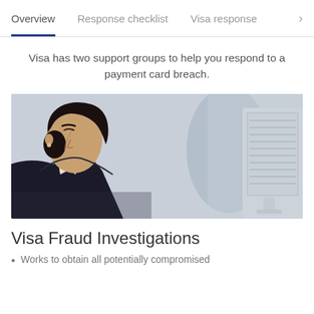Overview | Response checklist | Visa response >
Visa has two support groups to help you respond to a payment card breach.
[Figure (photo): A woman with dark hair looking intently at a computer monitor, in an office environment with another person blurred in the background.]
Visa Fraud Investigations
Works to obtain all potentially compromised